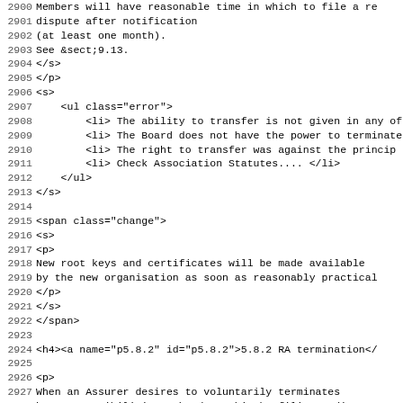2900 Members will have reasonable time in which to file a re
2901 dispute after notification
2902 (at least one month).
2903 See &sect;9.13.
2904 </s>
2905 </p>
2906 <s>
2907     <ul class="error">
2908         <li> The ability to transfer is not given in any of
2909         <li> The Board does not have the power to terminate
2910         <li> The right to transfer was against the princip
2911         <li> Check Association Statutes.... </li>
2912     </ul>
2913 </s>
2914 
2915 <span class="change">
2916 <s>
2917 <p>
2918 New root keys and certificates will be made available
2919 by the new organisation as soon as reasonably practical
2920 </p>
2921 </s>
2922 </span>
2923 
2924 <h4><a name="p5.8.2" id="p5.8.2">5.8.2 RA termination</
2925 
2926 <p>
2927 When an Assurer desires to voluntarily terminates
2928 her responsibilities, she does this by filing a dispute
2929 and following the instructions of the Arbitrator.
2930 </p>
2931